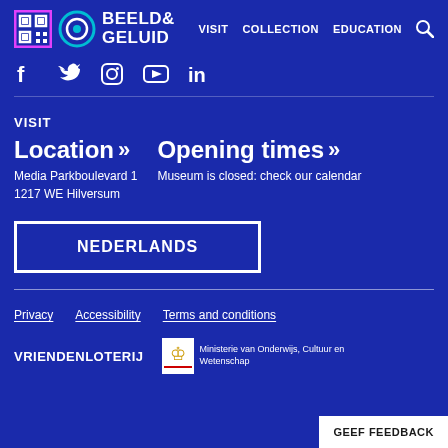[Figure (logo): Beeld & Geluid logo with QR code icon and circular target icon, and navigation links: VISIT, COLLECTION, EDUCATION, search icon]
[Figure (infographic): Social media icons row: Facebook, Twitter, Instagram, YouTube, LinkedIn]
VISIT
Location → Media Parkboulevard 1 1217 WE Hilversum
Opening times → Museum is closed: check our calendar
NEDERLANDS
Privacy   Accessibility   Terms and conditions
VRIENDENLOTERIJ
[Figure (logo): Ministerie van Onderwijs, Cultuur en Wetenschap logo with coat of arms]
Ministerie van Onderwijs, Cultuur en Wetenschap
GEEF FEEDBACK